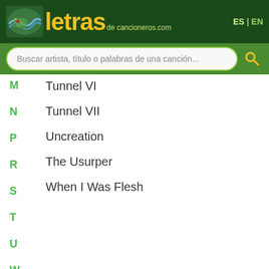[Figure (logo): Letras de cancioneros.com website header with logo and language switcher]
Buscar artista, título o palabras de una canción...
M
Tunnel VI
N
Tunnel VII
P
Uncreation
R
S
The Usurper
T
U
When I Was Flesh
W